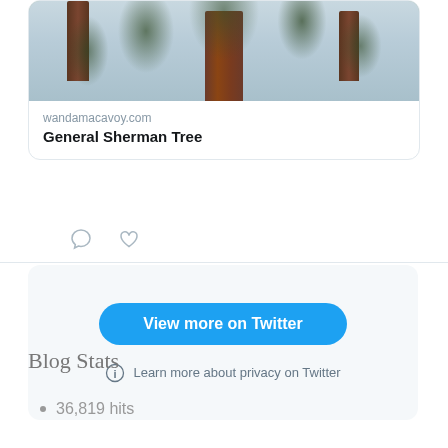[Figure (screenshot): Twitter embedded card showing a photo of the General Sherman Tree (large sequoia with reddish-brown trunk surrounded by tall pine trees) with link to wandamacavoy.com, comment and like icons, a 'View more on Twitter' blue button, and a privacy information link.]
wandamacavoy.com
General Sherman Tree
View more on Twitter
Learn more about privacy on Twitter
Blog Stats
36,819 hits